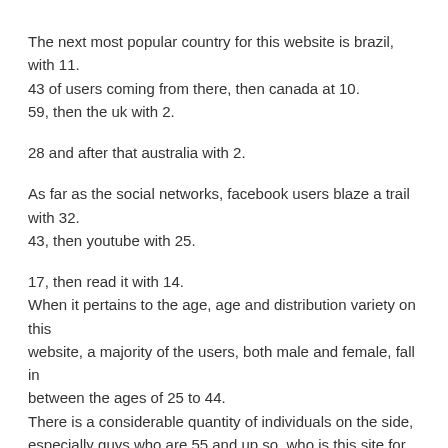The next most popular country for this website is brazil, with 11. 43 of users coming from there, then canada at 10. 59, then the uk with 2.
28 and after that australia with 2.
As far as the social networks, facebook users blaze a trail with 32. 43, then youtube with 25.
17, then read it with 14. When it pertains to the age, age and distribution variety on this website, a majority of the users, both male and female, fall in between the ages of 25 to 44. There is a considerable quantity of individuals on the side, especially guys who are 55 and up so, who is this site for well at first, ashley madison was used as a as a cheating site to be frank, however it has actually developed from that.